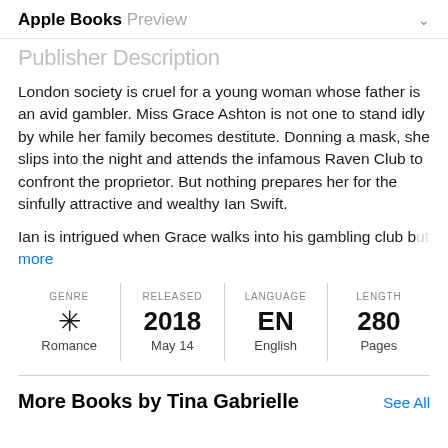Apple Books Preview
Publisher Description
London society is cruel for a young woman whose father is an avid gambler. Miss Grace Ashton is not one to stand idly by while her family becomes destitute. Donning a mask, she slips into the night and attends the infamous Raven Club to confront the proprietor. But nothing prepares her for the sinfully attractive and wealthy Ian Swift.
Ian is intrigued when Grace walks into his gambling club b… more
| GENRE | RELEASED | LANGUAGE | LENGTH |
| --- | --- | --- | --- |
| Romance | 2018 May 14 | EN English | 280 Pages |
More Books by Tina Gabrielle